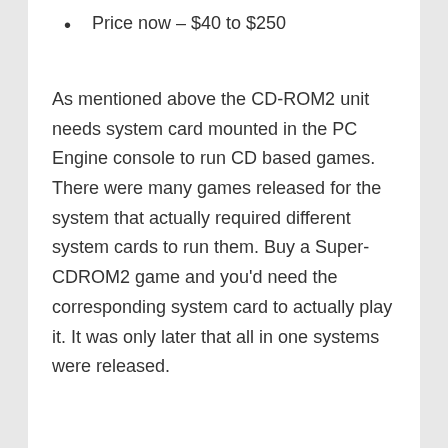Price now – $40 to $250
As mentioned above the CD-ROM2 unit needs system card mounted in the PC Engine console to run CD based games. There were many games released for the system that actually required different system cards to run them. Buy a Super-CDROM2 game and you'd need the corresponding system card to actually play it. It was only later that all in one systems were released.